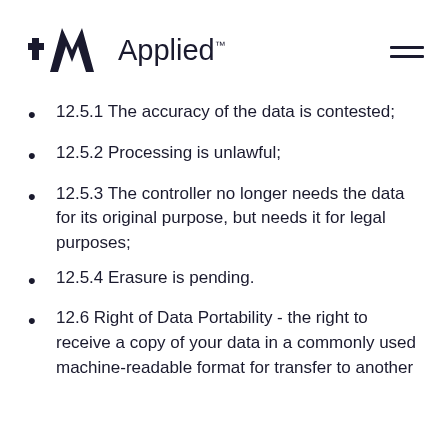[Figure (logo): Applied logo with plus symbol and stylized A, followed by the word Applied with trademark symbol]
12.5.1 The accuracy of the data is contested;
12.5.2 Processing is unlawful;
12.5.3 The controller no longer needs the data for its original purpose, but needs it for legal purposes;
12.5.4 Erasure is pending.
12.6 Right of Data Portability - the right to receive a copy of your data in a commonly used machine-readable format for transfer to another